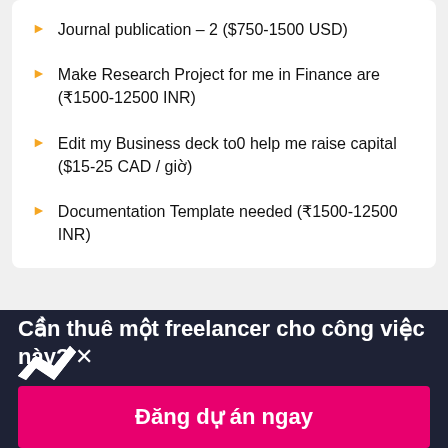Journal publication – 2 ($750-1500 USD)
Make Research Project for me in Finance are (₹1500-12500 INR)
Edit my Business deck to0 help me raise capital ($15-25 CAD / giờ)
Documentation Template needed (₹1500-12500 INR)
[Figure (logo): Freelancer.com origami bird logo in white]
Cần thuê một freelancer cho công việc này? ×
Đăng dự án ngay